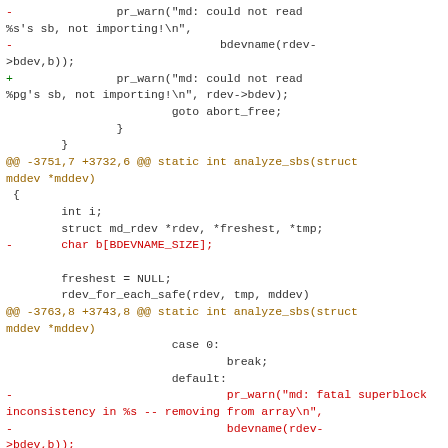[Figure (other): Unified diff code snippet showing removal of bdevname() calls and replacement with rdev->bdev in pr_warn() calls within the analyze_sbs() function of an MD driver, including hunk headers and context lines.]